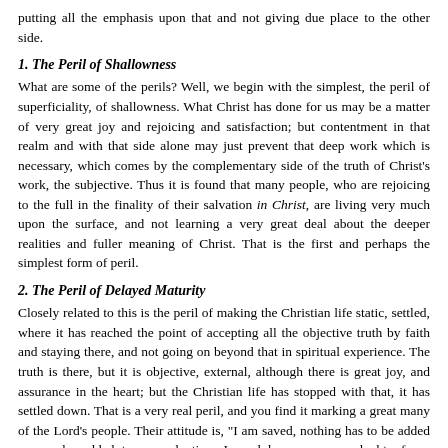putting all the emphasis upon that and not giving due place to the other side.
1. The Peril of Shallowness
What are some of the perils? Well, we begin with the simplest, the peril of superficiality, of shallowness. What Christ has done for us may be a matter of very great joy and rejoicing and satisfaction; but contentment in that realm and with that side alone may just prevent that deep work which is necessary, which comes by the complementary side of the truth of Christ's work, the subjective. Thus it is found that many people, who are rejoicing to the full in the finality of their salvation in Christ, are living very much upon the surface, and not learning a very great deal about the deeper realities and fuller meaning of Christ. That is the first and perhaps the simplest form of peril.
2. The Peril of Delayed Maturity
Closely related to this is the peril of making the Christian life static, settled, where it has reached the point of accepting all the objective truth by faith and staying there, and not going on beyond that in spiritual experience. The truth is there, but it is objective, external, although there is great joy, and assurance in the heart; but the Christian life has stopped with that, it has settled down. That is a very real peril, and you find it marking a great many of the Lord's people. Their attitude is, "I am saved, nothing has to be added or can be added to my salvation; I need have no more doubt of my salvation, I am accepted in Christ, and I am perfect in Him; what more do I need? I just rest upon that and enjoy that day by day." Well, that is very good, but you see it can bring a check, so that you live on one side of things, and the whole of the Christian life stops there.
3. The Peril of Contradiction
There is a further peril into which some fall who have apprehended in a very true and blessed way the greatness of the salvation which Christ has